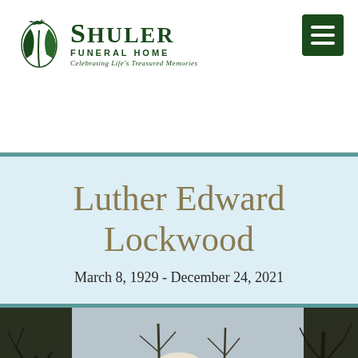Shuler Funeral Home — Celebrating Life's Treasured Memories
Luther Edward Lockwood
March 8, 1929 - December 24, 2021
[Figure (photo): Photograph of Luther Edward Lockwood, an elderly man with white hair, outdoors with bare trees in the background.]